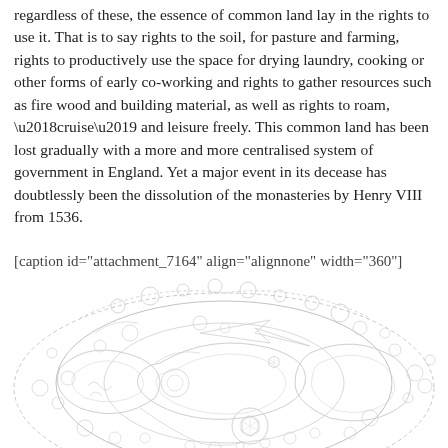regardless of these, the essence of common land lay in the rights to use it. That is to say rights to the soil, for pasture and farming, rights to productively use the space for drying laundry, cooking or other forms of early co-working and rights to gather resources such as fire wood and building material, as well as rights to roam, ‘cruise’ and leisure freely. This common land has been lost gradually with a more and more centralised system of government in England. Yet a major event in its decease has doubtlessly been the dissolution of the monasteries by Henry VIII from 1536.
[caption id="attachment_7164" align="alignnone" width="360"]
[Figure (illustration): A detailed circular decorative illustration with intricate patterns including stylized fish, circles, curved lines, and organic forms rendered in light gray outlines on white background.]